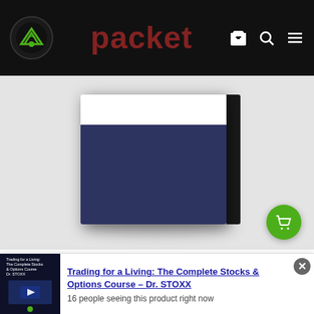[Figure (screenshot): Navigation bar with green logo icon on dark background, site title 'packet' in red text, cart, search, and hamburger menu icons]
[Figure (photo): Product image of a book/packet with white top section and dark navy bottom section against grey background]
Clif Droke'S PACKET
$15.00
Trading for a Living: The Complete Stocks & Options Course – Dr. STOXX
16 people seeing this product right now